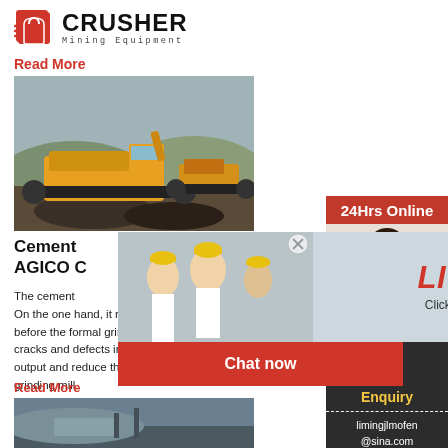[Figure (logo): Crusher Mining Equipment logo with red shopping bag icon and bold text]
Read More
[Figure (photo): Yellow mobile crushing machine/equipment on rocky terrain with hills in background]
Cement
AGICO C
The cement... On the one hand, it reduces the particle size of m... before the formal grinding, on the other hand, it... cracks and defects inside the particles to greath... output and reduce the energy consumption of th... grinding mill.
Read More
[Figure (photo): Mining or construction site aerial/landscape photo]
[Figure (infographic): Live Chat popup with workers in hard hats, LIVE CHAT heading, Click for a Free Consultation text, Chat now and Chat later buttons]
[Figure (infographic): Right sidebar: 24Hrs Online header, customer service agent photo, Need questions & suggestion text, Chat Now button, Enquiry link, limingjlmofen@sina.com email]